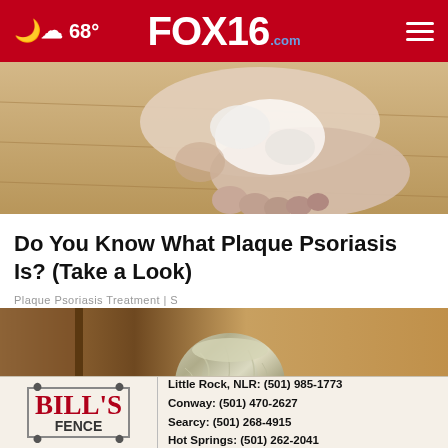68° FOX16.com
[Figure (photo): Close-up photo of a human foot/ankle on a wooden floor, showing skin condition consistent with psoriasis]
Do You Know What Plaque Psoriasis Is? (Take a Look)
Plaque Psoriasis Treatment | S
[Figure (photo): Photo of a door knob wrapped in aluminum foil]
[Figure (other): Bill's Fence advertisement: Little Rock, NLR: (501) 985-1773 Conway: (501) 470-2627 Searcy: (501) 268-4915 Hot Springs: (501) 262-2041]